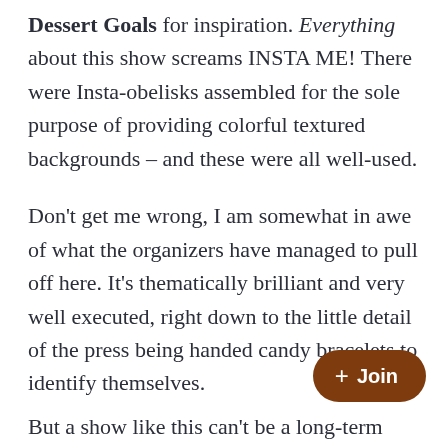Dessert Goals for inspiration. Everything about this show screams INSTA ME! There were Insta-obelisks assembled for the sole purpose of providing colorful textured backgrounds – and these were all well-used.
Don't get me wrong, I am somewhat in awe of what the organizers have managed to pull off here. It's thematically brilliant and very well executed, right down to the little detail of the press being handed candy bracelets to identify themselves.
But a show like this can't be a long-term success